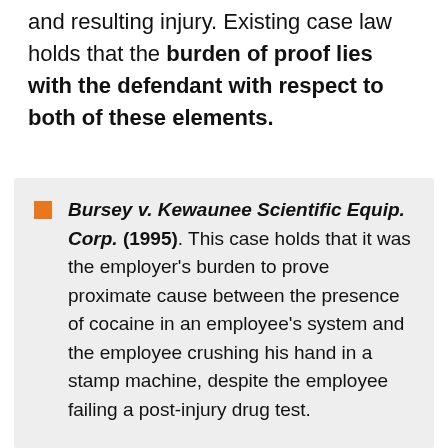and resulting injury. Existing case law holds that the burden of proof lies with the defendant with respect to both of these elements.
Bursey v. Kewaunee Scientific Equip. Corp. (1995). This case holds that it was the employer's burden to prove proximate cause between the presence of cocaine in an employee's system and the employee crushing his hand in a stamp machine, despite the employee failing a post-injury drug test.
Anderson v. Century Data Systems, Inc. (1984). This case held that the Industrial Commission needs to make findings of fact